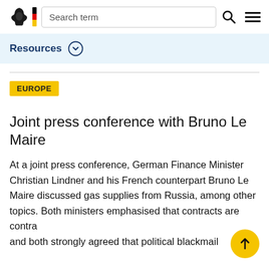Search term
Resources
EUROPE
Joint press conference with Bruno Le Maire
At a joint press conference, German Finance Minister Christian Lindner and his French counterpart Bruno Le Maire discussed gas supplies from Russia, among other topics. Both ministers emphasised that contracts are contra and both strongly agreed that political blackmail